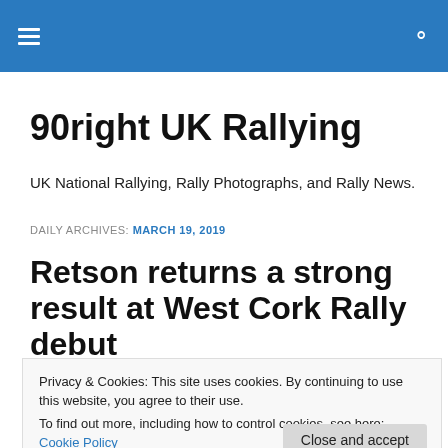90right UK Rallying [navigation bar with hamburger menu and search icon]
90right UK Rallying
UK National Rallying, Rally Photographs, and Rally News.
DAILY ARCHIVES: MARCH 19, 2019
Retson returns a strong result at West Cork Rally debut
Privacy & Cookies: This site uses cookies. By continuing to use this website, you agree to their use.
To find out more, including how to control cookies, see here: Cookie Policy
[Figure (photo): Partial view of a rally car photograph at the bottom of the page]